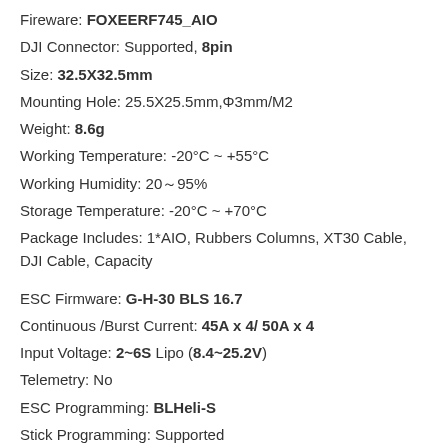Fireware: FOXEERF745_AIO
DJI Connector: Supported, 8pin
Size: 32.5X32.5mm
Mounting Hole: 25.5X25.5mm,Φ3mm/M2
Weight: 8.6g
Working Temperature: -20°C ~ +55°C
Working Humidity: 20～95%
Storage Temperature: -20°C ~ +70°C
Package Includes: 1*AIO, Rubbers Columns, XT30 Cable, DJI Cable, Capacity
ESC Firmware: G-H-30 BLS 16.7
Continuous /Burst Current: 45A x 4/ 50A x 4
Input Voltage: 2~6S Lipo (8.4~25.2V)
Telemetry: No
ESC Programming: BLHeli-S
Stick Programming: Supported
Current sensor: Supported
Current scale: 100
Input signal: Dshot300/600